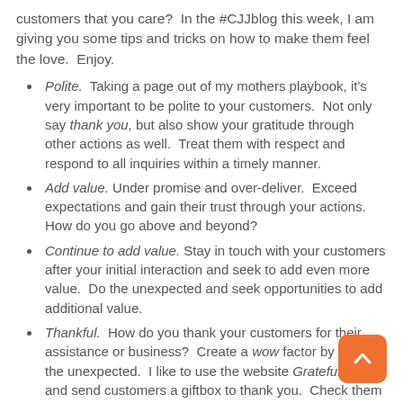customers that you care?  In the #CJJblog this week, I am giving you some tips and tricks on how to make them feel the love.  Enjoy.
Polite.  Taking a page out of my mothers playbook, it's very important to be polite to your customers.  Not only say thank you, but also show your gratitude through other actions as well.  Treat them with respect and respond to all inquiries within a timely manner.
Add value. Under promise and over-deliver.  Exceed expectations and gain their trust through your actions.  How do you go above and beyond?
Continue to add value. Stay in touch with your customers after your initial interaction and seek to add even more value.  Do the unexpected and seek opportunities to add additional value.
Thankful.  How do you thank your customers for their assistance or business?  Create a wow factor by doing the unexpected.  I like to use the website Grateful Box and send customers a giftbox to thank you.  Check them out at www.gratefulbox.com.